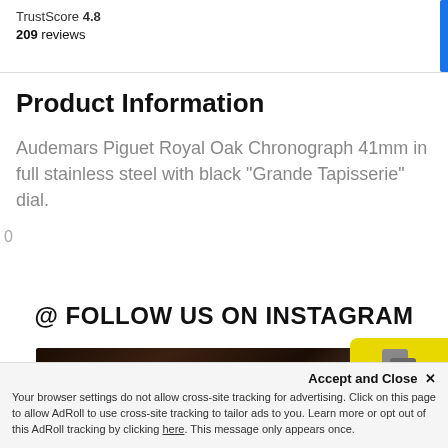TrustScore 4.8
209 reviews
Product Information
Audemars Piguet Royal Oak Chronograph 41mm in full stainless steel with black "Grande Tapisserie" dial.
0
@ FOLLOW US ON INSTAGRAM
[Figure (photo): Close-up photo of a watch or leather accessory with a logo/embossed pattern, dark brown background]
[Figure (other): Yellow chat widget showing speech bubble icon and 'We're offline' text]
Accept and Close ✕
Your browser settings do not allow cross-site tracking for advertising. Click on this page to allow AdRoll to use cross-site tracking to tailor ads to you. Learn more or opt out of this AdRoll tracking by clicking here. This message only appears once.